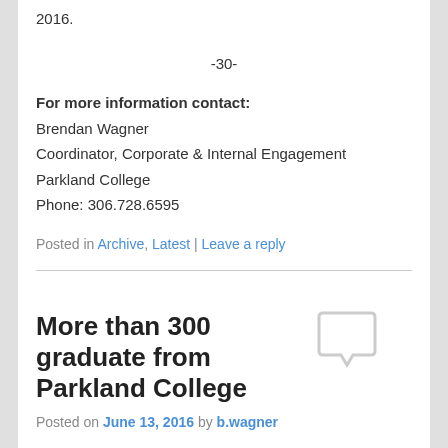2016.
-30-
For more information contact:
Brendan Wagner
Coordinator, Corporate & Internal Engagement
Parkland College
Phone: 306.728.6595
Posted in Archive, Latest | Leave a reply
More than 300 graduate from Parkland College
Posted on June 13, 2016 by b.wagner
Parkland College held its annual graduation ceremony Friday at the Yorkton Regional High School's Anne Portnuff Theatre. Family, friends, and College staff